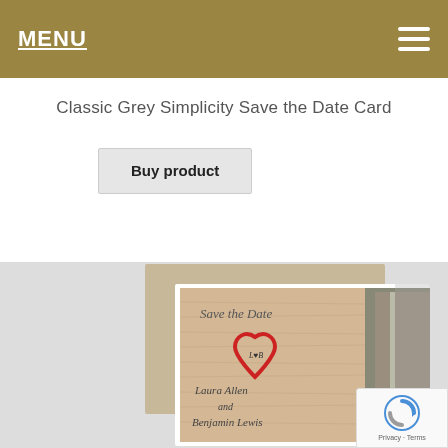MENU
Classic Grey Simplicity Save the Date Card
Buy product
[Figure (photo): Save the Date card product photo showing a rustic woodgrain card design with a red hand-drawn heart outline, script text reading 'Save the Date', 'Laura Allen and Benjamin Lewis', and a photo of a young couple smiling at each other]